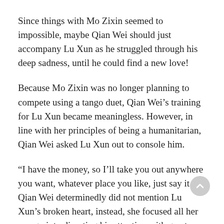Since things with Mo Zixin seemed to impossible, maybe Qian Wei should just accompany Lu Xun as he struggled through his deep sadness, until he could find a new love!
Because Mo Zixin was no longer planning to compete using a tango duet, Qian Wei’s training for Lu Xun became meaningless. However, in line with her principles of being a humanitarian, Qian Wei asked Lu Xun out to console him.
“I have the money, so I’ll take you out anywhere you want, whatever place you like, just say it.” Qian Wei determinedly did not mention Lu Xun’s broken heart, instead, she focused all her energy into diverting his attention with great enthusiasm. “Do you want to try barbecue? Why don’t we go to a barbecue place?”
After that, Qian Wei did not bother matter of Lu Xun’s b…